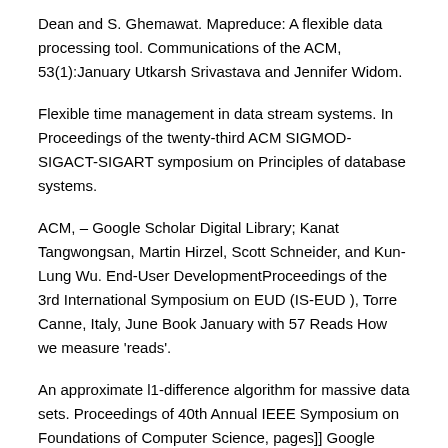Dean and S. Ghemawat. Mapreduce: A flexible data processing tool. Communications of the ACM, 53(1):January Utkarsh Srivastava and Jennifer Widom.
Flexible time management in data stream systems. In Proceedings of the twenty-third ACM SIGMOD-SIGACT-SIGART symposium on Principles of database systems.
ACM, – Google Scholar Digital Library; Kanat Tangwongsan, Martin Hirzel, Scott Schneider, and Kun-Lung Wu. End-User DevelopmentProceedings of the 3rd International Symposium on EUD (IS-EUD ), Torre Canne, Italy, June Book January with 57 Reads How we measure 'reads'.
An approximate l1-difference algorithm for massive data sets. Proceedings of 40th Annual IEEE Symposium on Foundations of Computer Science, pages]] Google Scholar; 6.
Flajolet and G. Martin. Probabilistic counting. Proceedings of 24th Annual IEEE Symposium on Foundations of Computer Science,